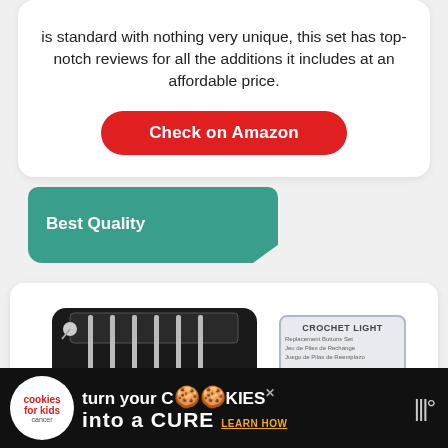is standard with nothing very unique, this set has top-notch reviews for all the additions it includes at an affordable price.
Check on Amazon
Best Quality
[Figure (photo): Yarn Story crochet light set in black case with colorful handles, alongside a Crochet Light replacement buttons set card.]
[Figure (photo): Advertisement banner: cookies for kids cancer - turn your cookies into a cure - learn how]